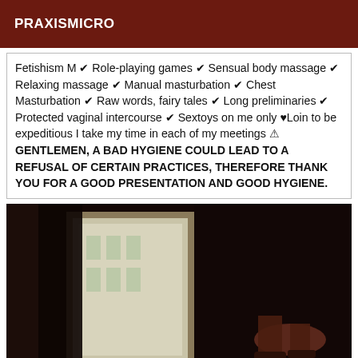PRAXISMICRO
Fetishism M ✔ Role-playing games ✔ Sensual body massage ✔ Relaxing massage ✔ Manual masturbation ✔ Chest Masturbation ✔ Raw words, fairy tales ✔ Long preliminaries ✔ Protected vaginal intercourse ✔ Sextoys on me only ♥Loin to be expeditious I take my time in each of my meetings ⚠ GENTLEMEN, A BAD HYGIENE COULD LEAD TO A REFUSAL OF CERTAIN PRACTICES, THEREFORE THANK YOU FOR A GOOD PRESENTATION AND GOOD HYGIENE.
[Figure (photo): Dark photograph showing a dimly lit room with a window providing light, and a person's legs visible in the lower right area]